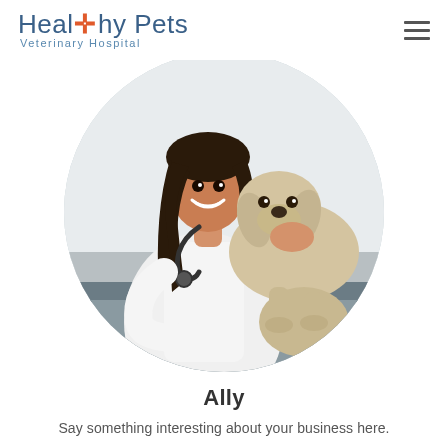Healthy Pets Veterinary Hospital
[Figure (photo): Circular cropped photo of a smiling female veterinarian in a white coat with a stethoscope, holding and examining a light-colored dog on an examination table.]
Ally
Say something interesting about your business here.